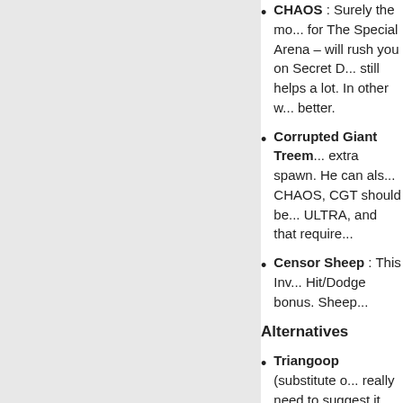CHAOS : Surely the mo... for The Special Arena – will rush you on Secret D... still helps a lot. In other w... better.
Corrupted Giant Treem... extra spawn. He can als... CHAOS, CGT should be... ULTRA, and that require...
Censor Sheep : This In... Hit/Dodge bonus. Sheep...
Alternatives
Triangoop (substitute o... really need to suggest it...
Fairy Godmother (subs... IA that has the biggest S... ULTRA.
List of Invisible Allies that yo...
-Dark Pyramid mobs
-Arena Bonus 1 and 2, Dark...
-Corruption mobs
-SD bosses + Chaos/CHAO...
-MEGABOSS'S REVENGE...